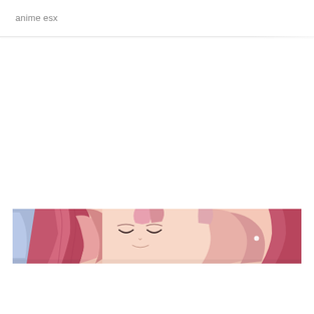anime esx
[Figure (illustration): A horizontal cropped strip of anime illustration showing close-up facial features of an anime character: pinkish-red hair or ear elements on both sides, a smiling closed-eye expression in the center, skin tones in peach/pink, with a blue element on the far left. The strip is narrow and spans most of the page width.]